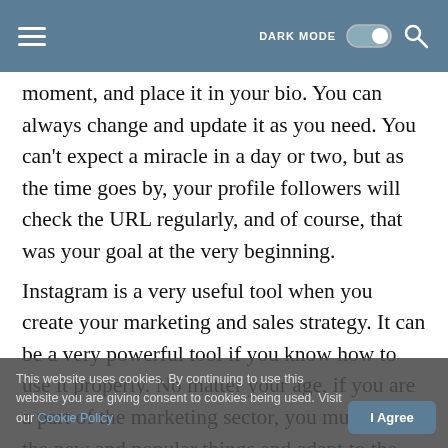DARK MODE [toggle] [search icon]
moment, and place it in your bio. You can always change and update it as you need. You can't expect a miracle in a day or two, but as the time goes by, your profile followers will check the URL regularly, and of course, that was your goal at the very beginning.
Instagram is a very useful tool when you create your marketing and sales strategy. It can be a very powerful tool if you know how to use it properly. No matter your age, if you are a part of the marketing sector, you must learn the new and popular things and adapt to the benefits that technology is bringing to every business today. Use the chance to learn from the best practices and of course, get inspired to come with unique ideas on your own.
This website uses cookies. By continuing to use this website you are giving consent to cookies being used. Visit our Cookie Policy